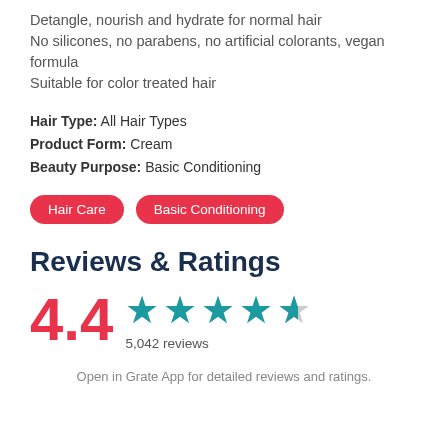Detangle, nourish and hydrate for normal hair
No silicones, no parabens, no artificial colorants, vegan formula
Suitable for color treated hair
Hair Type: All Hair Types
Product Form: Cream
Beauty Purpose: Basic Conditioning
Hair Care
Basic Conditioning
Reviews & Ratings
4.4  ★★★★☆  5,042 reviews
Open in Grate App for detailed reviews and ratings.